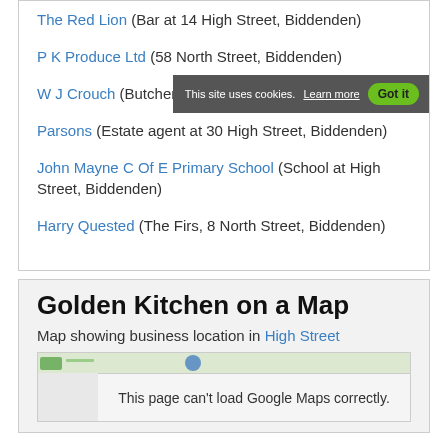The Red Lion (Bar at 14 High Street, Biddenden)
P K Produce Ltd (58 North Street, Biddenden)
W J Crouch (Butcher at 8 High Street, Biddenden)
Parsons (Estate agent at 30 High Street, Biddenden)
John Mayne C Of E Primary School (School at High Street, Biddenden)
Harry Quested (The Firs, 8 North Street, Biddenden)
Golden Kitchen on a Map
Map showing business location in High Street
[Figure (screenshot): Google Maps embed showing error: This page can't load Google Maps correctly.]